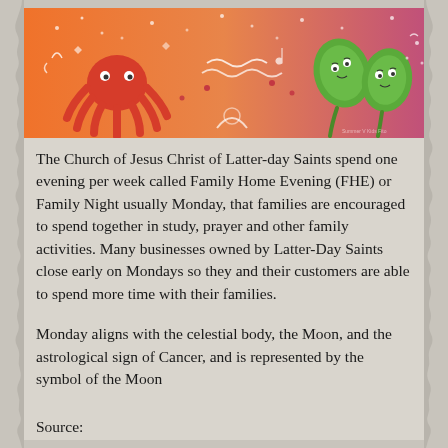[Figure (illustration): Colorful banner image with orange-to-pink gradient background featuring cartoon illustrations: a red octopus/sun figure on the left, wavy lines and small doodles in the center, and green leaf/vegetable characters on the right with white decorative patterns throughout.]
The Church of Jesus Christ of Latter-day Saints spend one evening per week called Family Home Evening (FHE) or Family Night usually Monday, that families are encouraged to spend together in study, prayer and other family activities. Many businesses owned by Latter-Day Saints close early on Mondays so they and their customers are able to spend more time with their families.
Monday aligns with the celestial body, the Moon, and the astrological sign of Cancer, and is represented by the symbol of the Moon
Source: